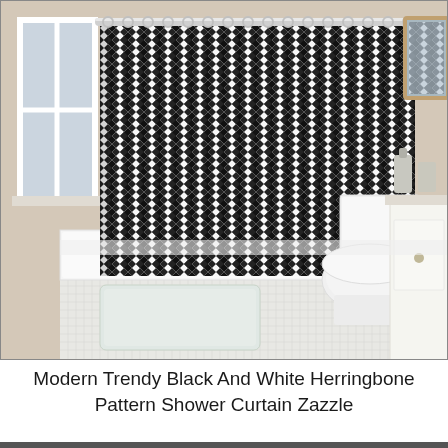[Figure (photo): Photograph of a modern bathroom featuring a black and white herringbone/chevron pattern shower curtain hanging from a chrome rod over a white bathtub. A white bath mat is on the floor. A white toilet is visible to the right, and a white vanity with mirror, soap dispenser and cup are on the far right. The walls are beige/tan and the floor has small white mosaic tiles. A window is on the left side.]
Modern Trendy Black And White Herringbone Pattern Shower Curtain Zazzle